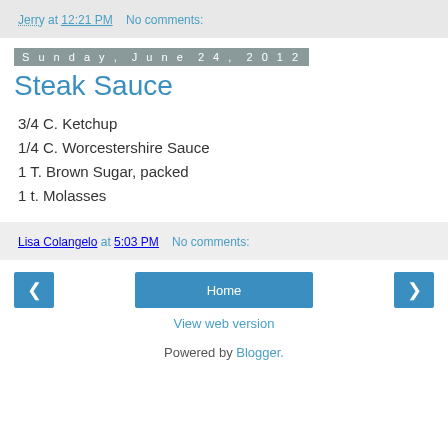Jerry at 12:21 PM   No comments:
Sunday, June 24, 2012
Steak Sauce
3/4 C. Ketchup
1/4 C. Worcestershire Sauce
1 T. Brown Sugar, packed
1 t. Molasses
Lisa Colangelo at 5:03 PM   No comments:
Home
View web version
Powered by Blogger.